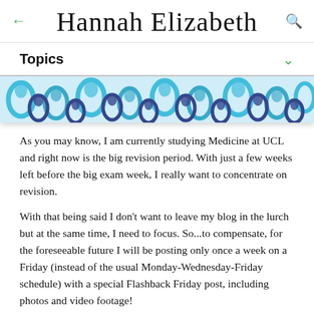Hannah Elizabeth
Topics
[Figure (illustration): Decorative blue and navy paisley/swirl pattern banner image]
As you may know, I am currently studying Medicine at UCL and right now is the big revision period. With just a few weeks left before the big exam week, I really want to concentrate on revision.
With that being said I don't want to leave my blog in the lurch but at the same time, I need to focus. So...to compensate, for the foreseeable future I will be posting only once a week on a Friday (instead of the usual Monday-Wednesday-Friday schedule) with a special Flashback Friday post, including photos and video footage!